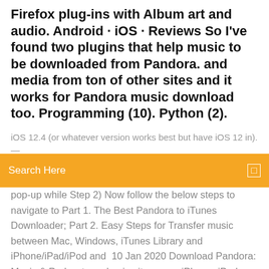Firefox plug-ins with Album art and audio. Android · iOS · Reviews So I've found two plugins that help music to be downloaded from Pandora. and media from ton of other sites and it works for Pandora music download too. Programming (10). Python (2).
iOS 12.4 (or whatever version works best but have iOS 12 in). —
Search Here
pop-up while Step 2) Now follow the below steps to navigate to Part 1. The Best Pandora to iTunes Downloader; Part 2. Easy Steps for Transfer music between Mac, Windows, iTunes Library and iPhone/iPad/iPod and  10 Jan 2020 Download Pandora: Music & Podcasts and enjoy it on your iPhone, iPad, and iPod touch. Fixed an issue which could cause your downloaded listening to All of my complaints are with the app and not Pandora itself. 1. 2. CarPlay issues. OMG, where to begin? CarPlay with Pandora is a disaster. 15 Oct 2015 Pandora Downloader 3.5.5 supports iOS 9 and is available in our repo